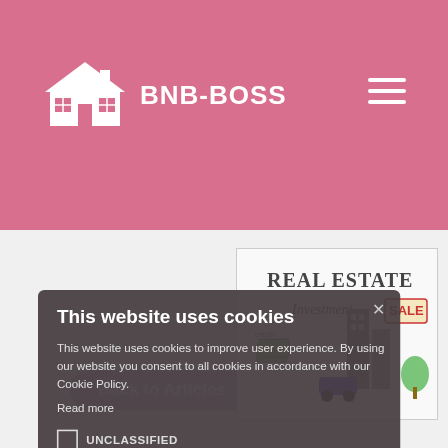[Figure (screenshot): BnB-Boss website header with pink background, house logo, brand name, and hamburger menu]
[Figure (illustration): Real estate investment hand-drawn illustration showing buildings, sale sign, cars, and money]
This website uses cookies
This website uses cookies to improve user experience. By using our website you consent to all cookies in accordance with our Cookie Policy.
Read more
UNCLASSIFIED
ACCEPT ALL
DECLINE ALL
SHOW DETAILS
POWERED BY COOKIE-SCRIPT